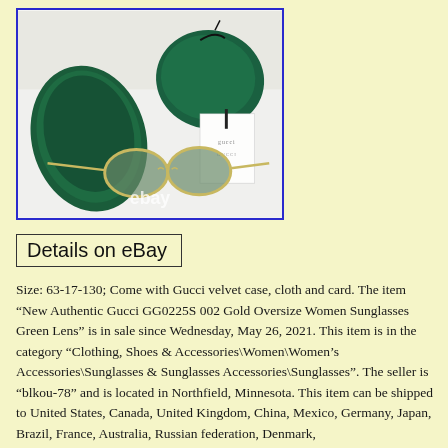[Figure (photo): Photo of Gucci sunglasses with green velvet case, green cloth pouch, and Gucci card/tag, laid on white background. Blue border around the photo.]
Details on eBay
Size: 63-17-130; Come with Gucci velvet case, cloth and card. The item “New Authentic Gucci GG0225S 002 Gold Oversize Women Sunglasses Green Lens” is in sale since Wednesday, May 26, 2021. This item is in the category “Clothing, Shoes & Accessories\Women\Women’s Accessories\Sunglasses & Sunglasses Accessories\Sunglasses”. The seller is “blkou-78” and is located in Northfield, Minnesota. This item can be shipped to United States, Canada, United Kingdom, China, Mexico, Germany, Japan, Brazil, France, Australia, Russian federation, Denmark,